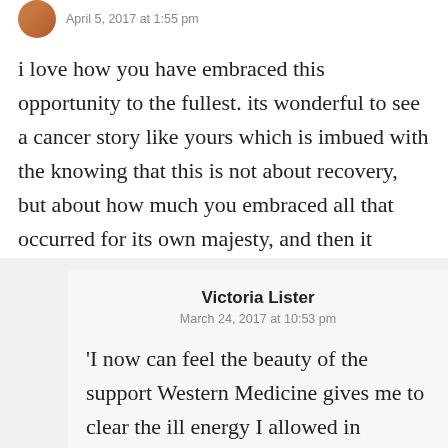April 5, 2017 at 1:55 pm
i love how you have embraced this opportunity to the fullest. its wonderful to see a cancer story like yours which is imbued with the knowing that this is not about recovery, but about how much you embraced all that occurred for its own majesty, and then it makes sense to me that after 6 years you were still smiling.
↵ Reply
Victoria Lister
March 24, 2017 at 10:53 pm
'I now can feel the beauty of the support Western Medicine gives me to clear the ill energy I allowed in because I was afraid to